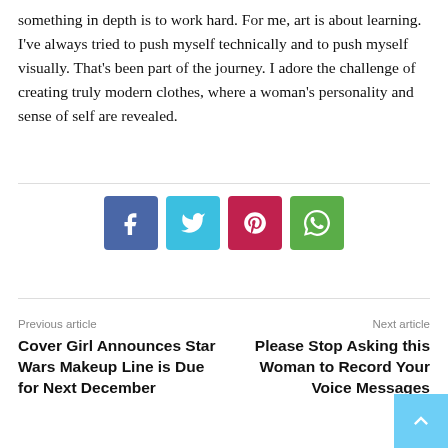something in depth is to work hard. For me, art is about learning. I've always tried to push myself technically and to push myself visually. That's been part of the journey. I adore the challenge of creating truly modern clothes, where a woman's personality and sense of self are revealed.
[Figure (infographic): Four social media sharing buttons: Facebook (blue), Twitter (light blue), Pinterest (red), WhatsApp (green)]
Previous article
Cover Girl Announces Star Wars Makeup Line is Due for Next December
Next article
Please Stop Asking this Woman to Record Your Voice Messages